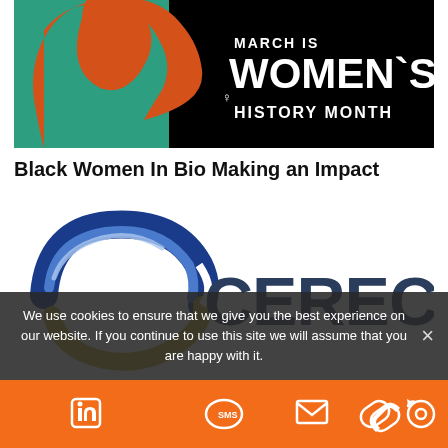[Figure (illustration): March is Women's History Month banner with orange female silhouette on black background with teal accent]
Black Women In Bio Making an Impact
[Figure (logo): Cerecor company logo with blue circular swoosh and dark blue CERECOR text]
We use cookies to ensure that we give you the best experience on our website. If you continue to use this site we will assume that you are happy with it.
[Figure (other): Orange footer bar with social media icons: LinkedIn, email/envelope, SMS chat bubble, link/chain, and refresh/eye icon]